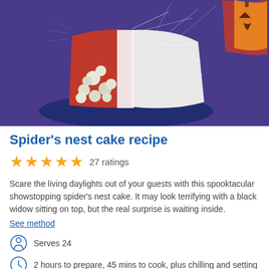[Figure (photo): A Halloween spider's nest cake on a dark blue/purple background, with a slice cut showing red velvet interior with white chocolate truffles, covered in white icing and spun sugar/spiderweb decoration. A jack-o-lantern pumpkin is visible in the top right corner.]
Spider's nest cake recipe
27 ratings
Scare the living daylights out of your guests with this spooktacular showstopping spider's nest cake. It may look terrifying with a black widow sitting on top, but the real surprise is waiting inside. See method
Serves 24
2 hours to prepare, 45 mins to cook, plus chilling and setting
568 calories / serving